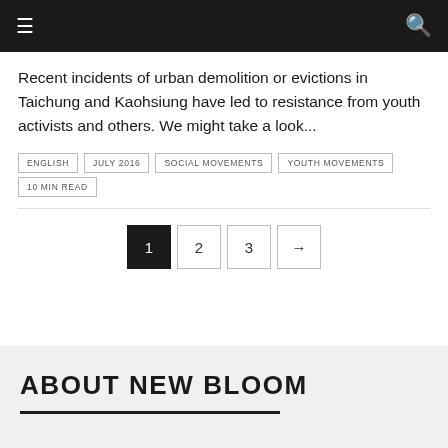≡ [menu icon] | [search icon]
Recent incidents of urban demolition or evictions in Taichung and Kaohsiung have led to resistance from youth activists and others. We might take a look...
ENGLISH
JULY 2016
SOCIAL MOVEMENTS
YOUTH MOVEMENTS
10 MIN READ
1 2 3 → (pagination)
ABOUT NEW BLOOM